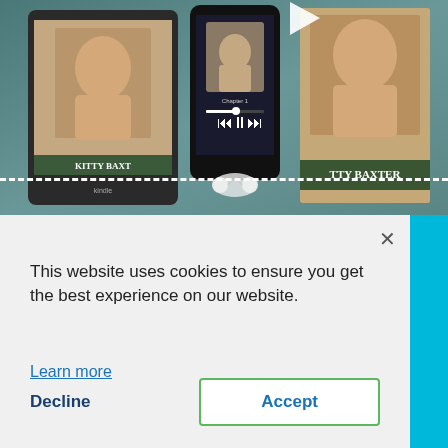[Figure (screenshot): Website screenshot showing book covers for 'Kitty Baxter' displayed on a Kindle e-reader, a smartphone, and as a physical book cover, set against a teal/green background. A horizontal dashed white line crosses the middle of the image area.]
This website uses cookies to ensure you get the best experience on our website.
Learn more
Decline
Accept